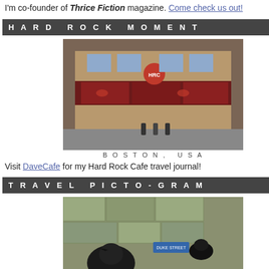I'm co-founder of Thrice Fiction magazine. Come check us out!
HARD ROCK MOMENT
[Figure (photo): Hard Rock Cafe exterior, Boston, USA]
BOSTON, USA
Visit DaveCafe for my Hard Rock Cafe travel journal!
TRAVEL PICTO-GRAM
[Figure (photo): Birds on a stone wall, London, England]
LONDON, ENGLAND
Visit my travel map to see where I have been in this world!
BADGEMANIA
[Figure (logo): Blogography.com! badge logo]
[Figure (logo): Entries Feed icons with green and orange RSS/feed icons]
[Figure (illustration): Right column: dark illustrated figure (cartoon detective) with TR text at bottom on dark bar]
Yes indeed, this time the shit is months in the making. Just like times along the way, but there
Each of the four prize da each year along with so